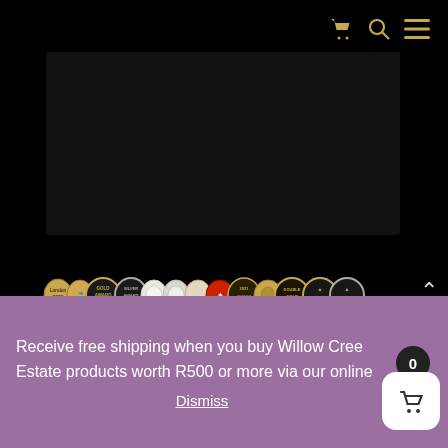🛒 🔍 ≡
[Figure (photo): Dark hero image area, black background rectangle representing a product/estate photo]
[Figure (photo): Row of award medals including London 2020, Gold Award, Silver Award, and various other wine/product award medals in gold, silver, and red]
[Figure (illustration): Cursive/script decorative text in white on black background, partially visible]
Receive free shipping when you buy Willow Creek Estate products worth R500 or more via our online
Dismiss
[Figure (other): Shopping cart button (white rounded square) with basket icon and badge showing 0]